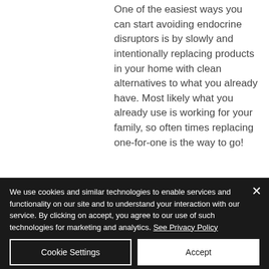One of the easiest ways you can start avoiding endocrine disruptors is by slowly and intentionally replacing products in your home with clean alternatives to what you already have. Most likely what you already use is working for your family, so often times replacing one-for-one is the way to go!
Here's the big piece of
We use cookies and similar technologies to enable services and functionality on our site and to understand your interaction with our service. By clicking on accept, you agree to our use of such technologies for marketing and analytics. See Privacy Policy